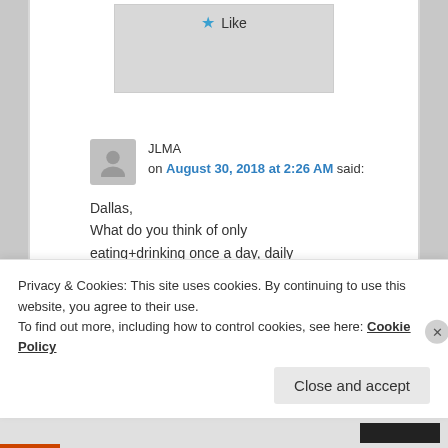[Figure (screenshot): Like button widget with blue star icon]
JLMA on August 30, 2018 at 2:26 AM said:
Dallas,
What do you think of only eating+drinking once a day, daily
Privacy & Cookies: This site uses cookies. By continuing to use this website, you agree to their use.
To find out more, including how to control cookies, see here: Cookie Policy
Close and accept